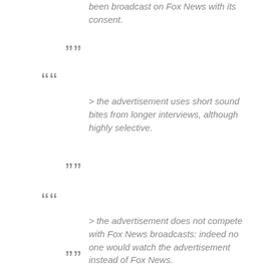been broadcast on Fox News with its consent.
””
““
> the advertisement uses short sound bites from longer interviews, although highly selective.
””
““
> the advertisement does not compete with Fox News broadcasts: indeed no one would watch the advertisement instead of Fox News.
””